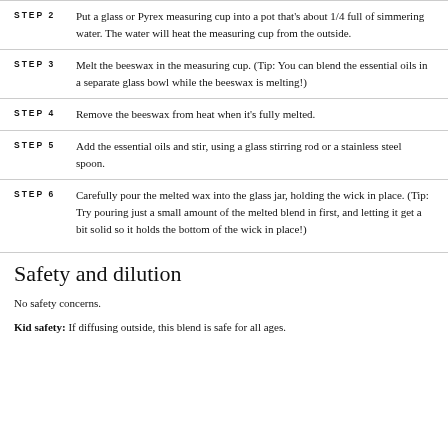STEP 2 Put a glass or Pyrex measuring cup into a pot that's about 1/4 full of simmering water. The water will heat the measuring cup from the outside.
STEP 3 Melt the beeswax in the measuring cup. (Tip: You can blend the essential oils in a separate glass bowl while the beeswax is melting!)
STEP 4 Remove the beeswax from heat when it's fully melted.
STEP 5 Add the essential oils and stir, using a glass stirring rod or a stainless steel spoon.
STEP 6 Carefully pour the melted wax into the glass jar, holding the wick in place. (Tip: Try pouring just a small amount of the melted blend in first, and letting it get a bit solid so it holds the bottom of the wick in place!)
Safety and dilution
No safety concerns.
Kid safety: If diffusing outside, this blend is safe for all ages.